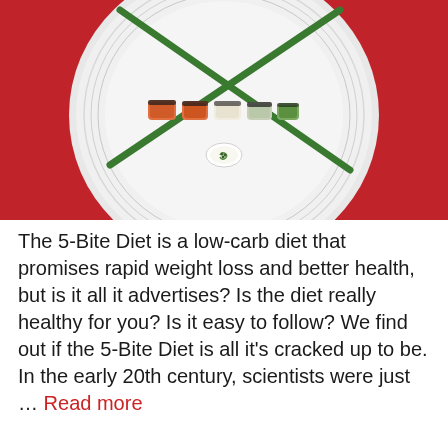[Figure (photo): A white decorative plate on a red background with sushi rolls and green chopsticks arranged in an X pattern across the plate. Small items of sushi are lined up in the center and a small decorative sauce cup is at the bottom center.]
The 5-Bite Diet is a low-carb diet that promises rapid weight loss and better health, but is it all it advertises? Is the diet really healthy for you? Is it easy to follow? We find out if the 5-Bite Diet is all it's cracked up to be. In the early 20th century, scientists were just … Read more